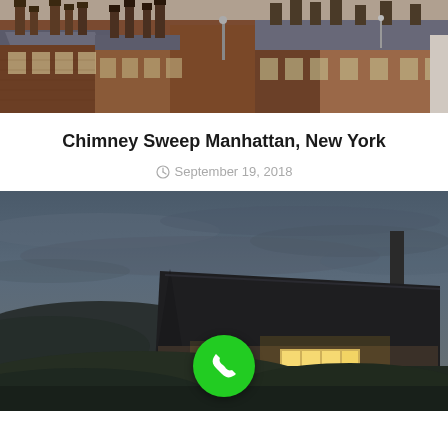[Figure (photo): Aerial/eye-level view of rooftops of old brick buildings with chimneys and slate roofs]
Chimney Sweep Manhattan, New York
September 19, 2018
[Figure (photo): A house with a dark thatched roof glowing from interior lights at dusk/night, surrounded by grassy hills and cloudy sky. A green phone/call button overlays the bottom center.]